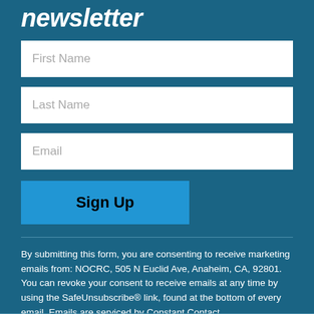newsletter
[Figure (screenshot): Newsletter signup form with First Name, Last Name, Email input fields and a Sign Up button]
By submitting this form, you are consenting to receive marketing emails from: NOCRC, 505 N Euclid Ave, Anaheim, CA, 92801. You can revoke your consent to receive emails at any time by using the SafeUnsubscribe® link, found at the bottom of every email. Emails are serviced by Constant Contact